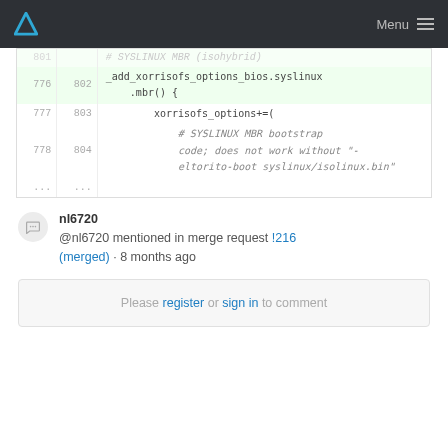Menu
[Figure (screenshot): Code diff viewer showing lines 776-778 (old) and 802-804 (new) with syslinux bios/mbr function and xorrisofs_options comment]
nl6720
@nl6720 mentioned in merge request !216 (merged) · 8 months ago
Please register or sign in to comment